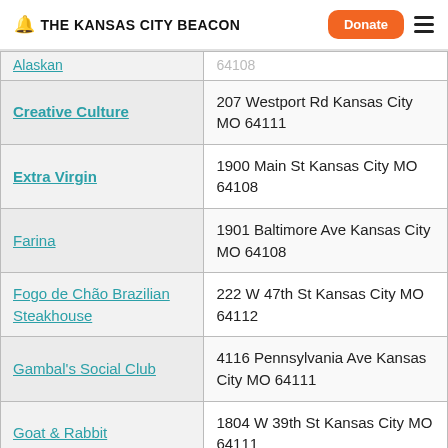THE KANSAS CITY BEACON — Donate | Menu
| Restaurant | Address |
| --- | --- |
| Alaskan (partial/cut off) | 64108 (partial/cut off) |
| Creative Culture | 207 Westport Rd Kansas City MO 64111 |
| Extra Virgin | 1900 Main St Kansas City MO 64108 |
| Farina | 1901 Baltimore Ave Kansas City MO 64108 |
| Fogo de Chão Brazilian Steakhouse | 222 W 47th St Kansas City MO 64112 |
| Gambal's Social Club | 4116 Pennsylvania Ave Kansas City MO 64111 |
| Goat & Rabbit | 1804 W 39th St Kansas City MO 64111 |